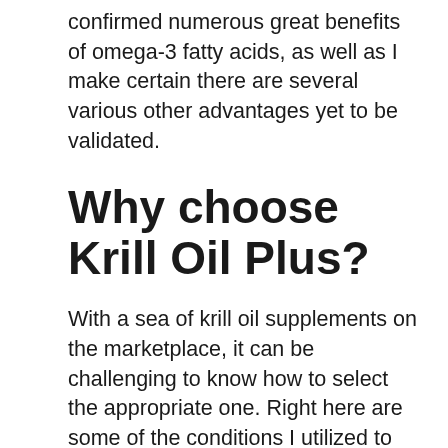confirmed numerous great benefits of omega-3 fatty acids, as well as I make certain there are several various other advantages yet to be validated.
Why choose Krill Oil Plus?
With a sea of krill oil supplements on the marketplace, it can be challenging to know how to select the appropriate one. Right here are some of the conditions I utilized to assist choose a krill oil supplement:.
Sustainability.
The keto trim is amazing how come we well, it i